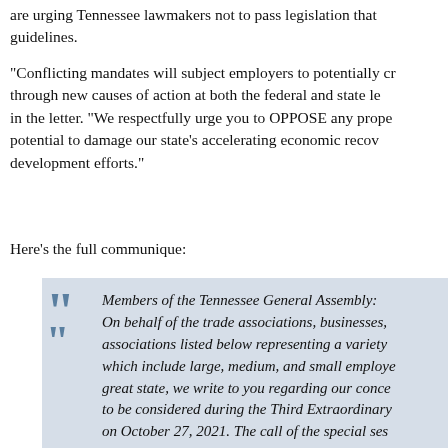are urging Tennessee lawmakers not to pass legislation that guidelines.
“Conflicting mandates will subject employers to potentially cr through new causes of action at both the federal and state le in the letter. “We respectfully urge you to OPPOSE any prope potential to damage our state’s accelerating economic recov development efforts.”
Here's the full communique:
““ Members of the Tennessee General Assembly: On behalf of the trade associations, businesses, associations listed below representing a variety which include large, medium, and small employe great state, we write to you regarding our conce to be considered during the Third Extraordinary on October 27, 2021. The call of the special ses some policies and procedures implemented by p nonprofit businesses and organizations during th pandemic, starting with a State of Emergency is on March 12, 2020, will be considered.